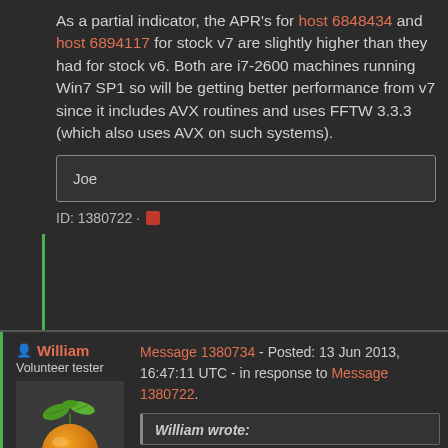As a partial indicator, the APR's for host 6848434 and host 6894117 for stock v7 are slightly higher than they had for stock v6. Both are i7-2600 machines running Win7 SP1 so will be getting better performance from v7 since it includes AVX routines and uses FFTW 3.3.3 (which also uses AVX on such systems).
Joe
ID: 1380722
William - Volunteer tester
[Figure (photo): Avatar image of an orange fruit with leaves, used as user profile picture for William]
Message 1380734 - Posted: 13 Jun 2013, 16:47:11 UTC - in response to Message 1380722.
William wrote: